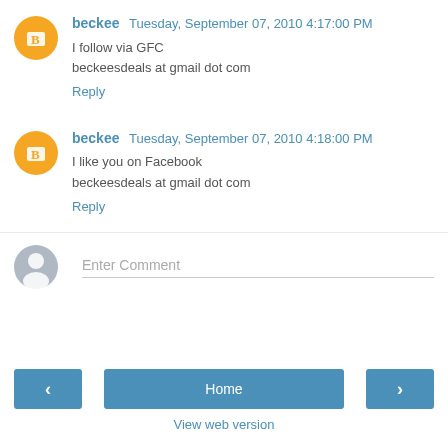beckee  Tuesday, September 07, 2010 4:17:00 PM
I follow via GFC
beckeesdeals at gmail dot com
Reply
beckee  Tuesday, September 07, 2010 4:18:00 PM
I like you on Facebook
beckeesdeals at gmail dot com
Reply
Enter Comment
Home
View web version